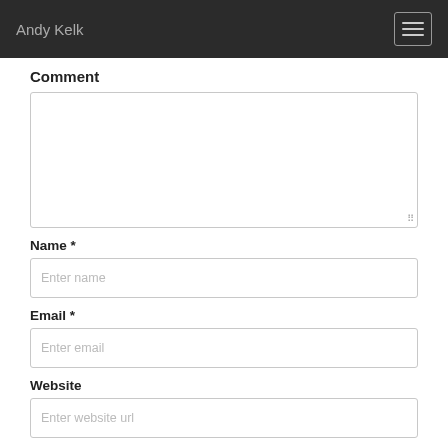Andy Kelk
Comment
Name *
Enter name
Email *
Enter email
Website
Enter website url
Notify me of follow up comments by email